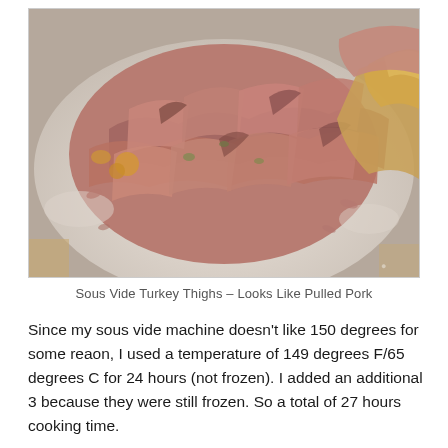[Figure (photo): A close-up photo of shredded cooked turkey thighs on a white plate, resembling pulled pork. The meat is pink and fibrous, with some browned skin pieces visible on the edges.]
Sous Vide Turkey Thighs – Looks Like Pulled Pork
Since my sous vide machine doesn't like 150 degrees for some reaon, I used a temperature of 149 degrees F/65 degrees C for 24 hours (not frozen). I added an additional 3 because they were still frozen. So a total of 27 hours cooking time.